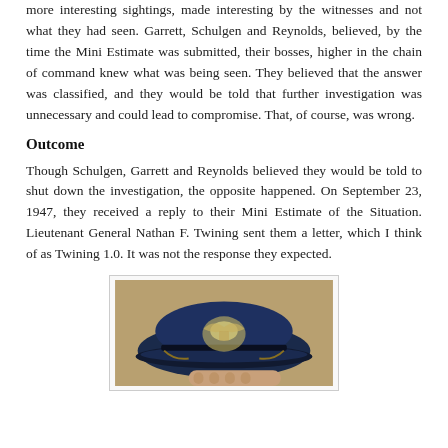more interesting sightings, made interesting by the witnesses and not what they had seen. Garrett, Schulgen and Reynolds, believed, by the time the Mini Estimate was submitted, their bosses, higher in the chain of command knew what was being seen. They believed that the answer was classified, and they would be told that further investigation was unnecessary and could lead to compromise. That, of course, was wrong.
Outcome
Though Schulgen, Garrett and Reynolds believed they would be told to shut down the investigation, the opposite happened. On September 23, 1947, they received a reply to their Mini Estimate of the Situation. Lieutenant General Nathan F. Twining sent them a letter, which I think of as Twining 1.0. It was not the response they expected.
[Figure (photo): A military officer's cap with insignia, dark blue, held by a hand, with a decorative eagle emblem on the front.]